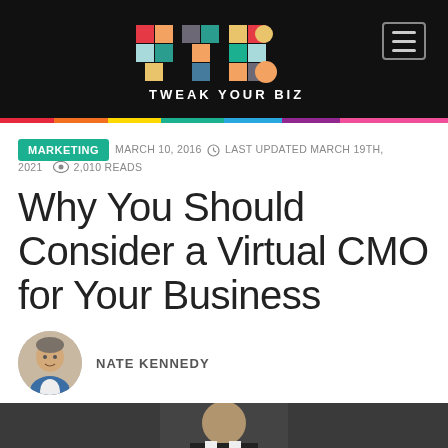[Figure (logo): Tweak Your Biz logo — colorful TYB lettermark with 'TWEAK YOUR BIZ' text below, on black background]
MARKETING   MARCH 10, 2016  LAST UPDATED MARCH 19TH, 2021   2,010 READS
Why You Should Consider a Virtual CMO for Your Business
NATE KENNEDY
[Figure (photo): Bottom portion of article hero image showing a person in a suit]